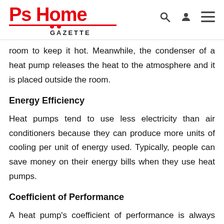Ps Home GAZETTE
room to keep it hot. Meanwhile, the condenser of a heat pump releases the heat to the atmosphere and it is placed outside the room.
Energy Efficiency
Heat pumps tend to use less electricity than air conditioners because they can produce more units of cooling per unit of energy used. Typically, people can save money on their energy bills when they use heat pumps.
Coefficient of Performance
A heat pump's coefficient of performance is always more than...